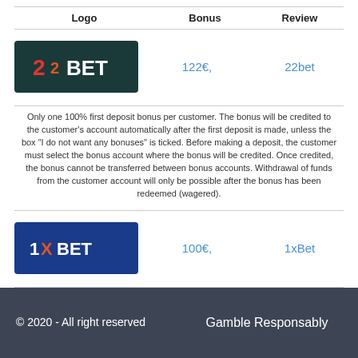| Logo | Bonus | Review |
| --- | --- | --- |
| [22BET logo] | 122€, | 22bet |
| Only one 100% first deposit bonus per customer. The bonus will be credited to the customer's account automatically after the first deposit is made, unless the box "I do not want any bonuses" is ticked. Before making a deposit, the customer must select the bonus account where the bonus will be credited. Once credited, the bonus cannot be transferred between bonus accounts. Withdrawal of funds from the customer account will only be possible after the bonus has been redeemed (wagered). |  |  |
| [1XBET logo] | 100€, | 1xBet |
| New customers only. Place your FIRST bet on any sportsbook market and if it loses we will refund your stake in CASH. Max refund for this offer is €20. Only deposits made using Cards or Paypal will qualify for this promotion. T&Cs apply. Paddy's Rewards Club: Get a €10 free bet when you place 5x bets of €10+. T&Cs apply. |  |  |
© 2020 - All right reserved    Gamble Responsably